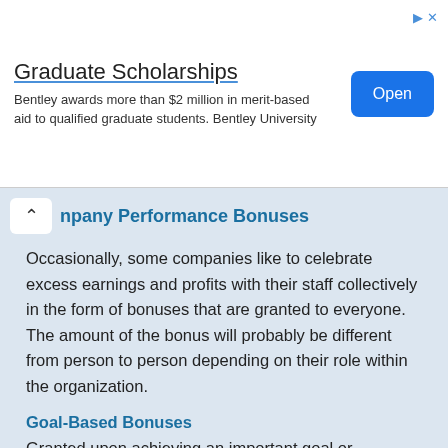[Figure (other): Advertisement banner for Graduate Scholarships at Bentley University with an Open button]
npany Performance Bonuses
Occasionally, some companies like to celebrate excess earnings and profits with their staff collectively in the form of bonuses that are granted to everyone. The amount of the bonus will probably be different from person to person depending on their role within the organization.
Goal-Based Bonuses
Granted upon achieving an important goal or milestone.
Holiday / End of Year Bonuses
These types of bonuses are given without a